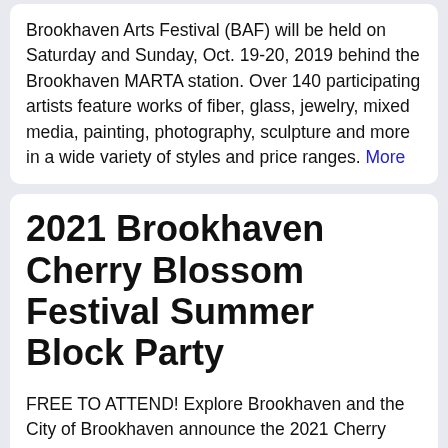Brookhaven Arts Festival (BAF) will be held on Saturday and Sunday, Oct. 19-20, 2019 behind the Brookhaven MARTA station. Over 140 participating artists feature works of fiber, glass, jewelry, mixed media, painting, photography, sculpture and more in a wide variety of styles and price ranges. More
2021 Brookhaven Cherry Blossom Festival Summer Block Party
FREE TO ATTEND! Explore Brookhaven and the City of Brookhaven announce the 2021 Cherry Blossom Summer Block Party on Dresden Drive and Apple Valley Road, featuring an outdoor concert in the MARTA lot along Apple Valley Road. Our downtown will transform into a pedestrian-only zone, inviting restaurants to move onto the sidewalks...